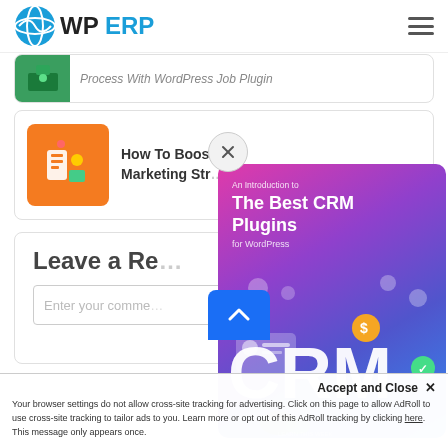[Figure (logo): WP ERP logo with blue globe icon and hamburger menu]
[Figure (screenshot): Partially visible blog post card with green thumbnail: Process With WordPress Job Plugin]
[Figure (screenshot): Blog post card: How To Boost Marketing Strategy with orange app icon thumbnail]
[Figure (illustration): CRM plugin popup with gradient background (pink to blue), title 'An Introduction to The Best CRM Plugins for WordPress', with CRM 3D illustration]
Leave a Re
Enter your comme
Accept and Close ✕
Your browser settings do not allow cross-site tracking for advertising. Click on this page to allow AdRoll to use cross-site tracking to tailor ads to you. Learn more or opt out of this AdRoll tracking by clicking here. This message only appears once.